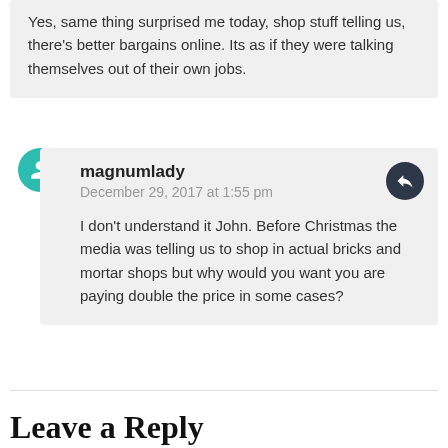Yes, same thing surprised me today, shop stuff telling us, there's better bargains online. Its as if they were talking themselves out of their own jobs.
magnumlady
December 29, 2017 at 1:55 pm

I don't understand it John. Before Christmas the media was telling us to shop in actual bricks and mortar shops but why would you want you are paying double the price in some cases?
Leave a Reply
Your email address will not be published. Required fields are marked